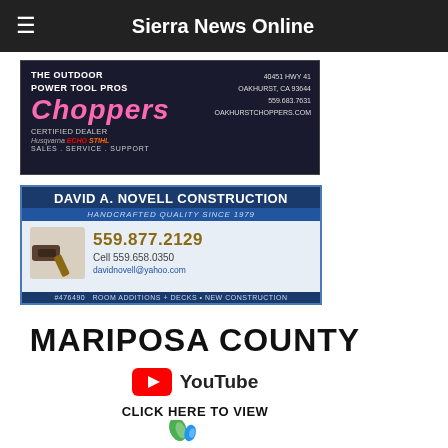Sierra News Online
[Figure (photo): Choppers outdoor power tool pros advertisement. The Outdoor Power Tool Pros, Choppers, Certified Dealer Husqvarna Echo Stihl, Sales Service Support, 40451 HWY 41 Oakhurst CA 93644, 559.683.7631, oakhurstchoppers.com]
[Figure (photo): David A. Novell Construction advertisement. Handcrafted Quality Since 1979. 559.877.2129, Cell 559.658.0350, davidnovell@yahoo.com, #476490, Room Additions + Decks + New Construction]
MARIPOSA COUNTY
[Figure (logo): YouTube logo icon (red play button) followed by YouTube text]
CLICK HERE TO VIEW
[Figure (logo): Green leaf and blue water drop logo (partial, cut off at bottom)]